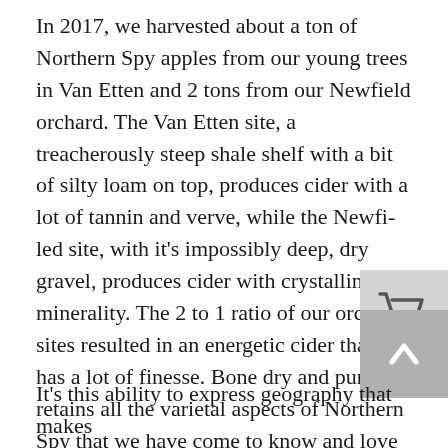In 2017, we harvested about a ton of Northern Spy apples from our young trees in Van Etten and 2 tons from our Newfield orchard. The Van Etten site, a treacherously steep shale shelf with a bit of silty loam on top, produces cider with a lot of tannin and verve, while the Newfield site, with it's impossibly deep, dry gravel, produces cider with crystalline minerality. The 2 to 1 ratio of our orchard sites resulted in an energetic cider that still has a lot of finesse. Bone dry and pure, it retains all the varietal aspects of Northern Spy that we have come to know and love while still reflecting the site variation.
It's this ability to express geography that makes